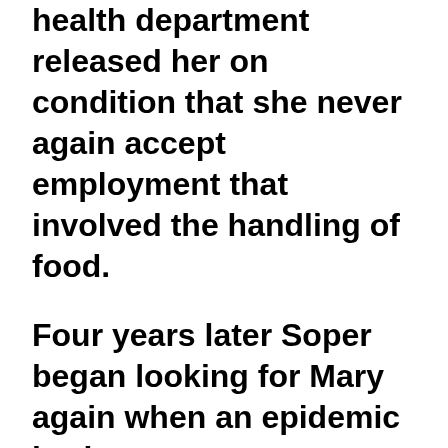health department released her on condition that she never again accept employment that involved the handling of food. Four years later Soper began looking for Mary again when an epidemic broke out at a sanatorium in Newfoundland, New Jersey, and at Sloane Maternity Hospital in Manhattan, New York; Mary had worked as a cook at both places. She was at last found in a suburban home in